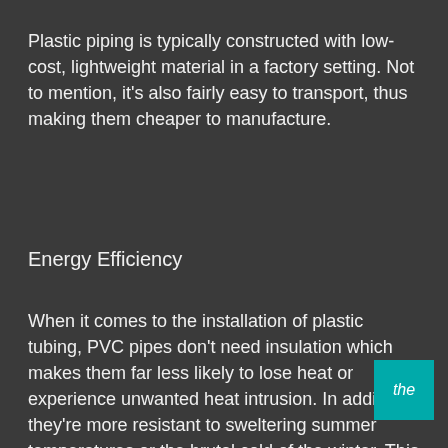Plastic piping is typically constructed with low-cost, lightweight material in a factory setting. Not to mention, it's also fairly easy to transport, thus making them cheaper to manufacture.
Energy Efficiency
When it comes to the installation of plastic tubing, PVC pipes don't need insulation which makes them far less likely to lose heat or experience unwanted heat intrusion. In addition, they're more resistant to sweltering summer temperatures or the brutal cold of the winter. This means that they don't need